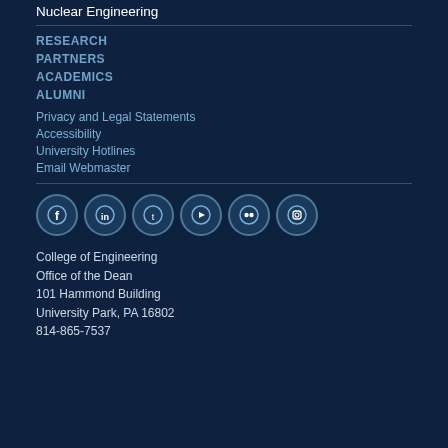Nuclear Engineering
RESEARCH
PARTNERS
ACADEMICS
ALUMNI
Privacy and Legal Statements
Accessibility
University Hotlines
Email Webmaster
[Figure (infographic): Row of six circular social media icons: Facebook, LinkedIn, Twitter, YouTube, Flickr, Instagram]
College of Engineering
Office of the Dean
101 Hammond Building
University Park, PA 16802
814-865-7537